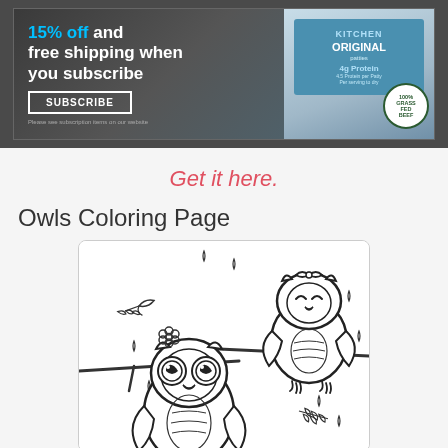[Figure (illustration): Advertisement banner with dark background. Text reads '15% off and free shipping when you subscribe' with a SUBSCRIBE button, alongside product packaging images including a bag labeled ORIGINAL KITCHEN with protein information and a 100% Grass-Fed Beef stamp.]
Get it here.
Owls Coloring Page
[Figure (illustration): A coloring page illustration of two cartoon owls perched on branches in the rain. One owl at the top right has a bow on its head and is smiling. One owl at the bottom left has large round eyes and a flower on its head. There are rain drops and holly leaves scattered throughout.]